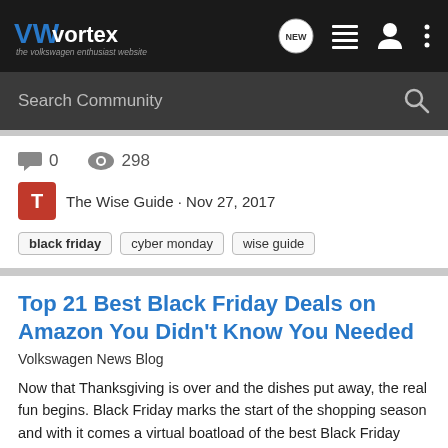VWvortex — the volkswagen enthusiast website
Search Community
0 comments  298 views
The Wise Guide · Nov 27, 2017
black friday
cyber monday
wise guide
Top 21 Best Black Friday Deals on Amazon You Didn't Know You Needed
Volkswagen News Blog
Now that Thanksgiving is over and the dishes put away, the real fun begins. Black Friday marks the start of the shopping season and with it comes a virtual boatload of the best Black Friday deals. At WiseGuide.com we write about things we think you'll like, introducing you to great products...